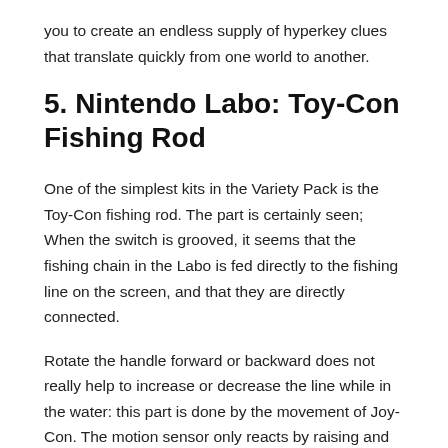you to create an endless supply of hyperkey clues that translate quickly from one world to another.
5. Nintendo Labo: Toy-Con Fishing Rod
One of the simplest kits in the Variety Pack is the Toy-Con fishing rod. The part is certainly seen; When the switch is grooved, it seems that the fishing chain in the Labo is fed directly to the fishing line on the screen, and that they are directly connected.
Rotate the handle forward or backward does not really help to increase or decrease the line while in the water: this part is done by the movement of Joy-Con. The motion sensor only reacts by raising and lowering the bar itself, while the crank is used to pull any poor marine creature that you have managed to hook from the depths. The Toy-Con fishing rod is compatible with the Toy-Con piano, since you can place the switch and the cane on top of that,